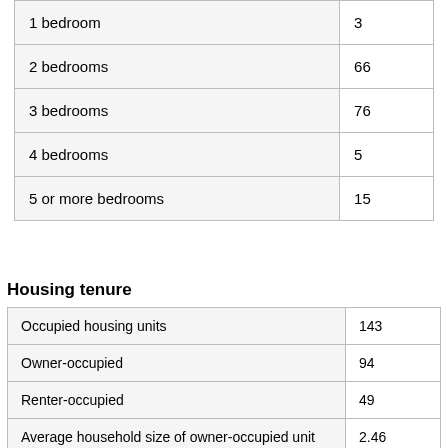|  |  |
| --- | --- |
| 1 bedroom | 3 |
| 2 bedrooms | 66 |
| 3 bedrooms | 76 |
| 4 bedrooms | 5 |
| 5 or more bedrooms | 15 |
Housing tenure
|  |  |
| --- | --- |
| Occupied housing units | 143 |
| Owner-occupied | 94 |
| Renter-occupied | 49 |
| Average household size of owner-occupied unit | 2.46 |